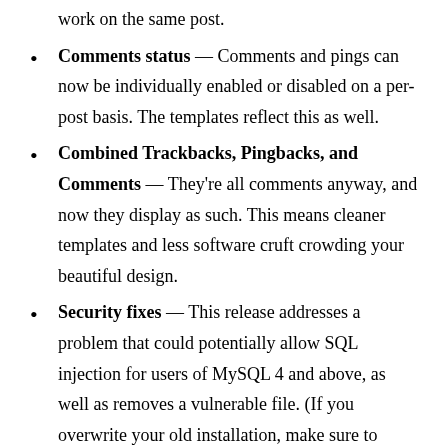work on the same post.
Comments status — Comments and pings can now be individually enabled or disabled on a per-post basis. The templates reflect this as well.
Combined Trackbacks, Pingbacks, and Comments — They’re all comments anyway, and now they display as such. This means cleaner templates and less software cruft crowding your beautiful design.
Security fixes — This release addresses a problem that could potentially allow SQL injection for users of MySQL 4 and above, as well as removes a vulnerable file. (If you overwrite your old installation, make sure to delete links.all.php)